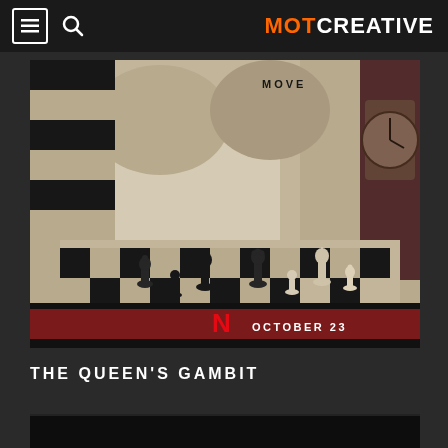MOT CREATIVE
[Figure (photo): The Queen's Gambit Netflix promotional poster showing a chess player's torso over a chess board with pieces, dark retro aesthetic, with 'MOVE' text in upper right, Netflix 'N' logo and 'OCTOBER 23' text in bottom bar]
THE QUEEN'S GAMBIT
[Figure (photo): Partially visible dark image strip at bottom of page]